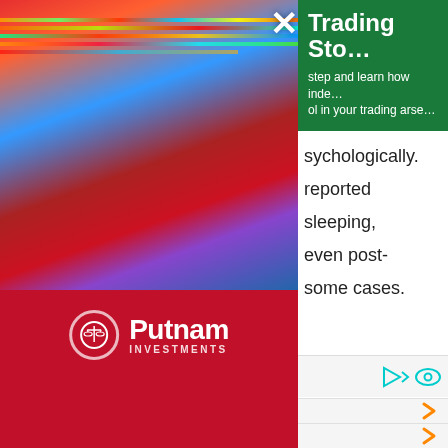[Figure (photo): Abstract colorful glitch art photo with red, blue, and orange streaks over a dark red background]
[Figure (logo): Putnam Investments logo — scales of justice icon with Putnam name and INVESTMENTS subtitle in white on dark red background]
Trading Sto...
step and learn how inde... ool in your trading arse...
sychologically.
reported
sleeping,
even post-
some cases.